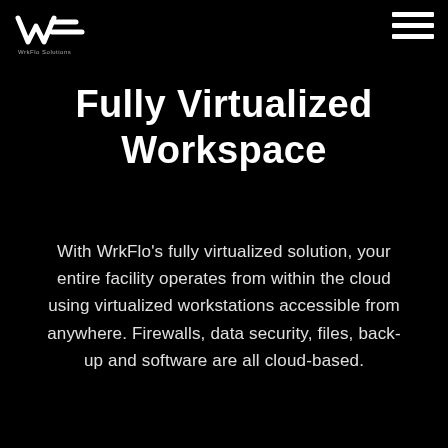[Figure (logo): WrkFlo Solutions logo — white W and arrow/line mark with 'WrkFlo Solutions' text below]
[Figure (other): Hamburger menu icon — three horizontal white lines stacked]
Fully Virtualized Workspace
With WrkFlo’s fully virtualized solution, your entire facility operates from within the cloud using virtualized workstations accessible from anywhere. Firewalls, data security, files, back-up and software are all cloud-based.